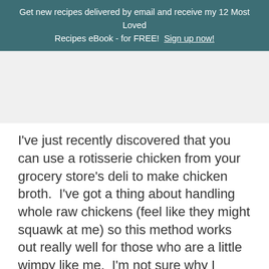Get new recipes delivered by email and receive my 12 Most Loved Recipes eBook - for FREE!  Sign up now!
[Figure (photo): A light gray placeholder image area representing a recipe photo]
I've just recently discovered that you can use a rotisserie chicken from your grocery store's deli to make chicken broth.  I've got a thing about handling whole raw chickens (feel like they might squawk at me) so this method works out really well for those who are a little wimpy like me.  I'm not sure why I never realized how much goodness you could get out of the leftovers of a picked rotisserie before, and now I'm feeling bad